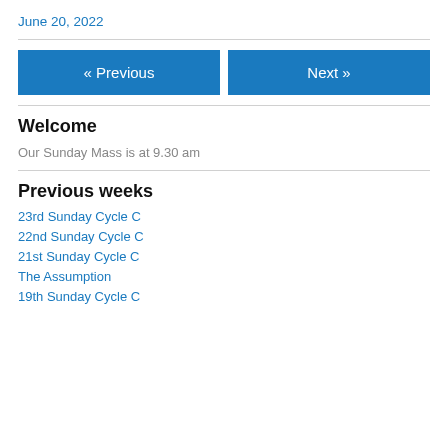June 20, 2022
[Figure (other): Navigation buttons: « Previous and Next »]
Welcome
Our Sunday Mass is at 9.30 am
Previous weeks
23rd Sunday Cycle C
22nd Sunday Cycle C
21st Sunday Cycle C
The Assumption
19th Sunday Cycle C